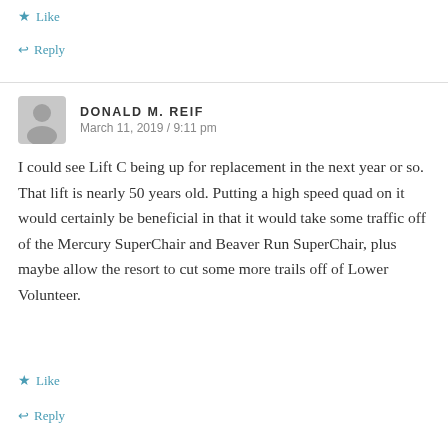★ Like
↩ Reply
DONALD M. REIF
March 11, 2019 / 9:11 pm
I could see Lift C being up for replacement in the next year or so. That lift is nearly 50 years old. Putting a high speed quad on it would certainly be beneficial in that it would take some traffic off of the Mercury SuperChair and Beaver Run SuperChair, plus maybe allow the resort to cut some more trails off of Lower Volunteer.
★ Like
↩ Reply